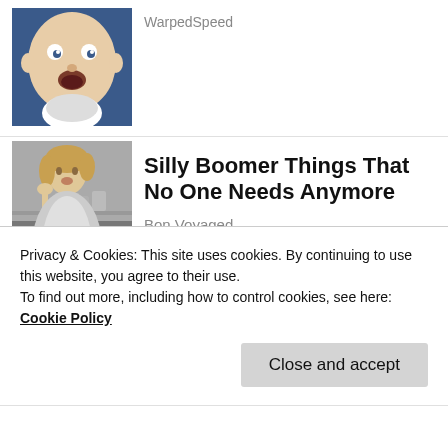[Figure (photo): Cropped baby face with surprised expression on blue background — WarpedSpeed article thumbnail]
WarpedSpeed
[Figure (photo): Black and white photo of a 1950s housewife looking stressed over laundry — Bon Voyaged article thumbnail]
Silly Boomer Things That No One Needs Anymore
Bon Voyaged
Share this:
Facebook  Twitter  Email  Print
Privacy & Cookies: This site uses cookies. By continuing to use this website, you agree to their use.
To find out more, including how to control cookies, see here:
Cookie Policy
Close and accept